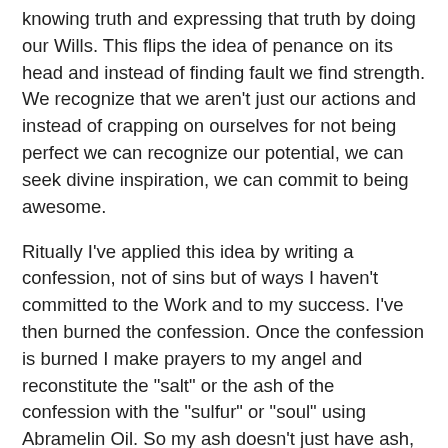knowing truth and expressing that truth by doing our Wills. This flips the idea of penance on its head and instead of finding fault we find strength. We recognize that we aren't just our actions and instead of crapping on ourselves for not being perfect we can recognize our potential, we can seek divine inspiration, we can commit to being awesome.
Ritually I've applied this idea by writing a confession, not of sins but of ways I haven't committed to the Work and to my success. I've then burned the confession. Once the confession is burned I make prayers to my angel and reconstitute the "salt" or the ash of the confession with the "sulfur" or "soul" using Abramelin Oil. So my ash doesn't just have ash, but like Chrism it has fire.
This confession first played out for me while doing the Abramelin Working, which contains a confession and wearing of ash. This idea of confessing to falling short of the Work seemed a fitting way to work on committing to it. From there, reflections on Ash Wednesday and Lent led to this association between the act and the season. It is of course something you can do at any time, and I personally keep my